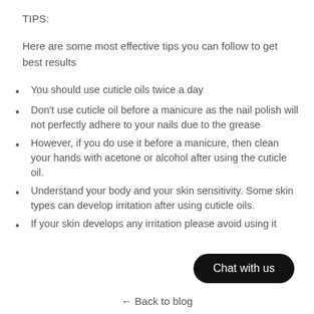TIPS:
Here are some most effective tips you can follow to get best results
You should use cuticle oils twice a day
Don't use cuticle oil before a manicure as the nail polish will not perfectly adhere to your nails due to the grease
However, if you do use it before a manicure, then clean your hands with acetone or alcohol after using the cuticle oil.
Understand your body and your skin sensitivity. Some skin types can develop irritation after using cuticle oils.
If your skin develops any irritation please avoid using it
Chat with us
← Back to blog